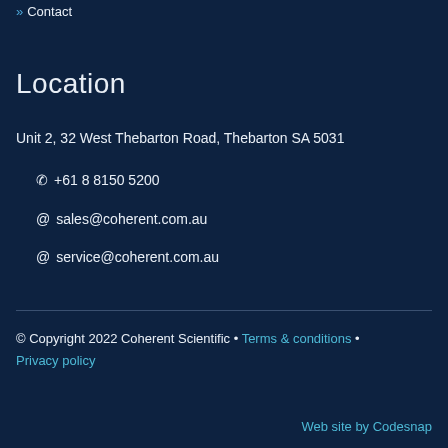» Contact
Location
Unit 2, 32 West Thebarton Road, Thebarton SA 5031
📞 +61 8 8150 5200
@ sales@coherent.com.au
@ service@coherent.com.au
© Copyright 2022 Coherent Scientific · Terms & conditions · Privacy policy
Web site by Codesnap